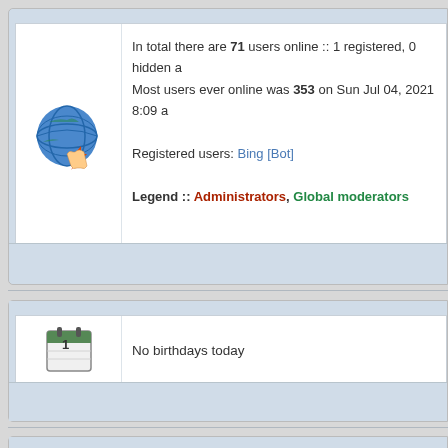In total there are 71 users online :: 1 registered, 0 hidden a... Most users ever online was 353 on Sun Jul 04, 2021 8:09 a...
Registered users: Bing [Bot]
Legend :: Administrators, Global moderators
No birthdays today
Total posts 171871 | Total topics 15461 | Total members 10826 | C...